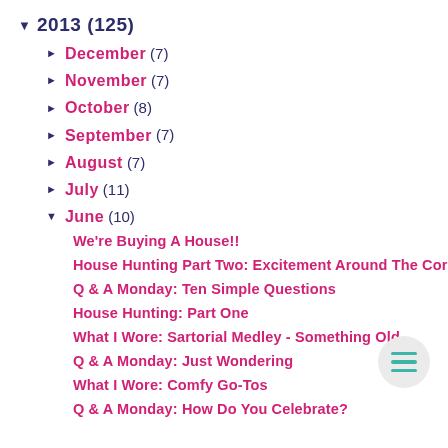▼ 2013 (125)
► December (7)
► November (7)
► October (8)
► September (7)
► August (7)
► July (11)
▼ June (10)
We're Buying A House!!
House Hunting Part Two: Excitement Around The Corner
Q & A Monday: Ten Simple Questions
House Hunting: Part One
What I Wore: Sartorial Medley - Something Old
Q & A Monday: Just Wondering
What I Wore: Comfy Go-Tos
Q & A Monday: How Do You Celebrate?